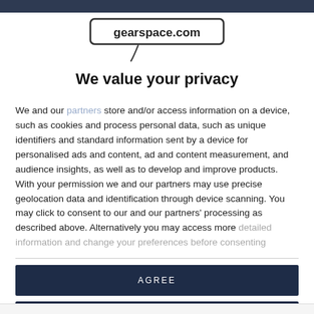gearspace.com
[Figure (logo): gearspace.com logo with microphone icon]
We value your privacy
We and our partners store and/or access information on a device, such as cookies and process personal data, such as unique identifiers and standard information sent by a device for personalised ads and content, ad and content measurement, and audience insights, as well as to develop and improve products. With your permission we and our partners may use precise geolocation data and identification through device scanning. You may click to consent to our and our partners' processing as described above. Alternatively you may access more detailed information and change your preferences before consenting
AGREE
MORE OPTIONS